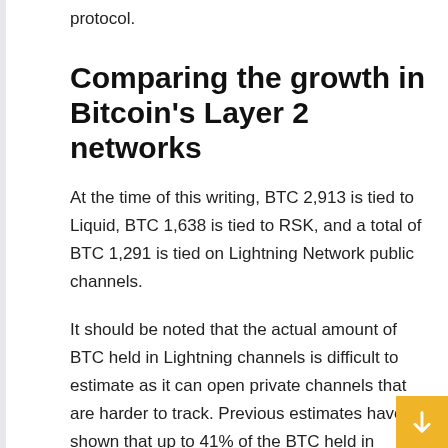protocol.
Comparing the growth in Bitcoin's Layer 2 networks
At the time of this writing, BTC 2,913 is tied to Liquid, BTC 1,638 is tied to RSK, and a total of BTC 1,291 is tied on Lightning Network public channels.
It should be noted that the actual amount of BTC held in Lightning channels is difficult to estimate as it can open private channels that are harder to track. Previous estimates have shown that up to 41% of the BTC held in Lightning channels could be in private channels, which would mean that the actual capacity of the Lightning network would be